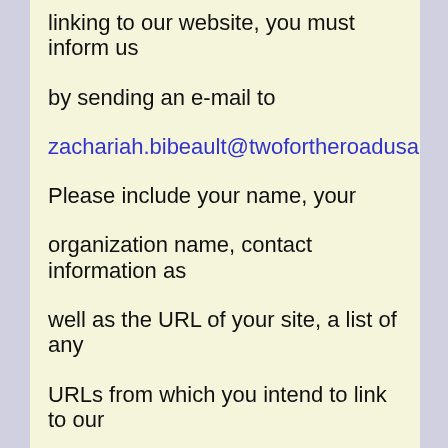linking to our website, you must inform us by sending an e-mail to zachariah.bibeault@twofortheroadusa.com. Please include your name, your organization name, contact information as well as the URL of your site, a list of any URLs from which you intend to link to our Website, and a list of the URLs on our site to which you would like to link. Wait 2-3